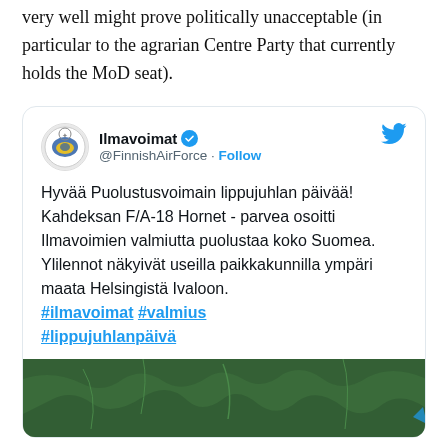very well might prove politically unacceptable (in particular to the agrarian Centre Party that currently holds the MoD seat).
[Figure (screenshot): Embedded tweet from @FinnishAirForce (Ilmavoimat) with verified badge and Follow button. Tweet text in Finnish: 'Hyvää Puolustusvoimain lippujuhlan päivää! Kahdeksan F/A-18 Hornet -parvea osoitti Ilmavoimien valmiutta puolustaa koko Suomea. Ylilennot näkyivät useilla paikkakunnilla ympäri maata Helsingistä Ivaloon. #ilmavoimat #valmius #lippujuhlanpäivä' with a partial green map image below.]